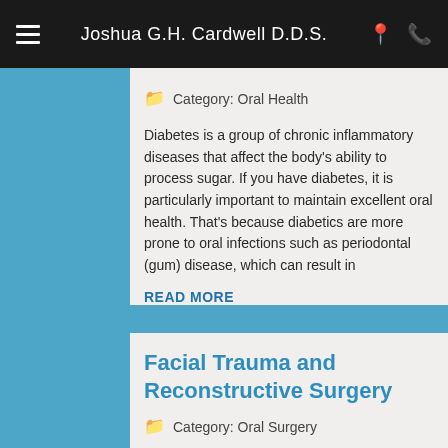Joshua G.H. Cardwell D.D.S.
Category: Oral Health
Diabetes is a group of chronic inflammatory diseases that affect the body's ability to process sugar. If you have diabetes, it is particularly important to maintain excellent oral health. That's because diabetics are more prone to oral infections such as periodontal (gum) disease, which can result in
READ MORE
Facial Trauma and Reconstructive Surgery
Category: Oral Surgery